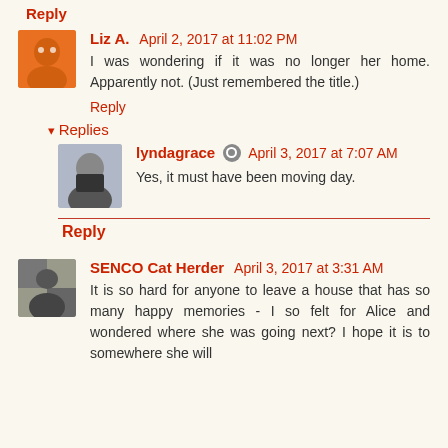Reply
Liz A. April 2, 2017 at 11:02 PM
I was wondering if it was no longer her home. Apparently not. (Just remembered the title.)
Reply
Replies
lyndagrace April 3, 2017 at 7:07 AM
Yes, it must have been moving day.
Reply
SENCO Cat Herder April 3, 2017 at 3:31 AM
It is so hard for anyone to leave a house that has so many happy memories - I so felt for Alice and wondered where she was going next? I hope it is to somewhere she will